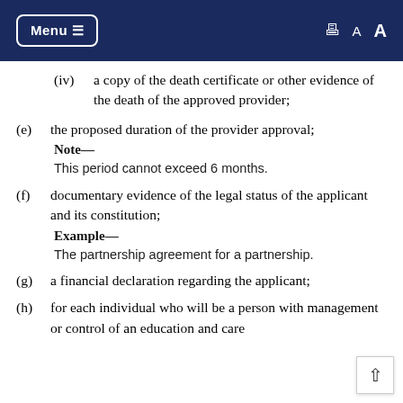Menu ≡   🖨 A A
(iv) a copy of the death certificate or other evidence of the death of the approved provider;
(e) the proposed duration of the provider approval;
Note—
This period cannot exceed 6 months.
(f) documentary evidence of the legal status of the applicant and its constitution;
Example—
The partnership agreement for a partnership.
(g) a financial declaration regarding the applicant;
(h) for each individual who will be a person with management or control of an education and care